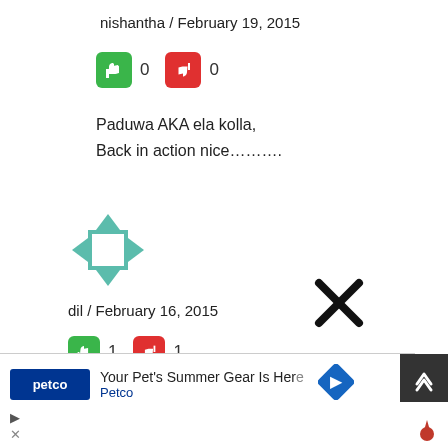nishantha / February 19, 2015
[Figure (infographic): Thumbs up (green) = 0, Thumbs down (red) = 0 vote buttons]
Paduwa AKA ela kolla,
Back in action nice……….
[Figure (logo): Teal geometric square/diamond avatar icon]
dil / February 16, 2015
[Figure (infographic): Thumbs up (green) = 1, Thumbs down (red) = 1 vote buttons]
This comment was removed by a moderator.
[Figure (infographic): Ad banner: Petco - Your Pet's Summer Gear Is Here]
[Figure (infographic): Close X button and scroll-to-top button overlay]